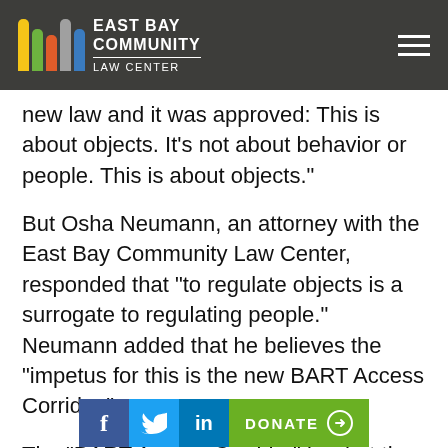[Figure (logo): East Bay Community Law Center logo with colored pillars on dark navigation bar]
new law and it was approved: 'This is about objects. It's not about behavior or people. This is about objects.'
But Osha Neumann, an attorney with the East Bay Community Law Center, responded that “to regulate objects is a surrogate to regulating people.” Neumann added that he believes the “impetus for this is the new BART Access Corridor.”
The “BART Access Corridor” is what the city is now [calling the public space on]